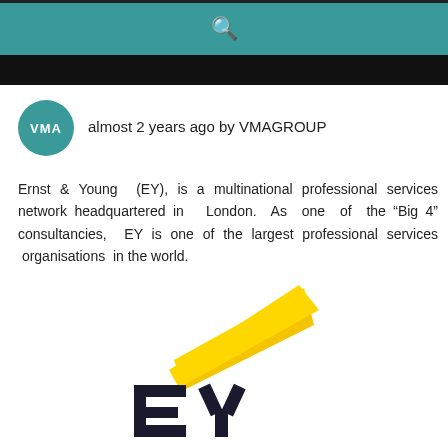almost 2 years ago by VMAGROUP
Ernst & Young (EY), is a multinational professional services network headquartered in London. As one of the “Big 4” consultancies, EY is one of the largest professional services organisations in the world.
[Figure (logo): EY (Ernst & Young) logo: yellow angular arrow/chevron shape above dark navy bold letters EY]